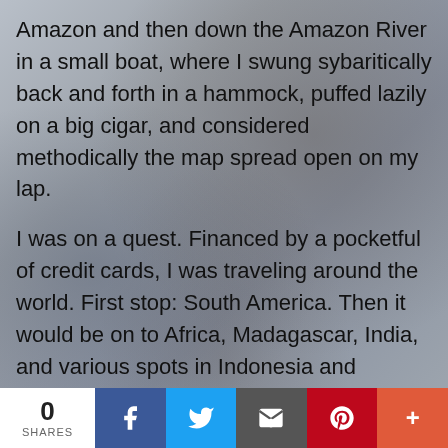Amazon and then down the Amazon River in a small boat, where I swung sybaritically back and forth in a hammock, puffed lazily on a big cigar, and considered methodically the map spread open on my lap.
I was on a quest. Financed by a pocketful of credit cards, I was traveling around the world. First stop: South America. Then it would be on to Africa, Madagascar, India, and various spots in Indonesia and Malaysian Borneo. I intended during my extended circumnavigation to find the world's
0 SHARES | Facebook | Twitter | Email | Pinterest | More